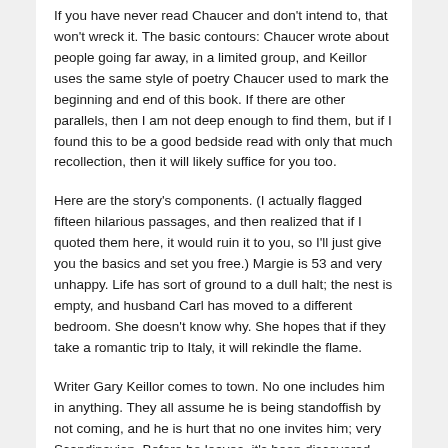If you have never read Chaucer and don't intend to, that won't wreck it. The basic contours: Chaucer wrote about people going far away, in a limited group, and Keillor uses the same style of poetry Chaucer used to mark the beginning and end of this book. If there are other parallels, then I am not deep enough to find them, but if I found this to be a good bedside read with only that much recollection, then it will likely suffice for you too.
Here are the story's components. (I actually flagged fifteen hilarious passages, and then realized that if I quoted them here, it would ruin it to you, so I'll just give you the basics and set you free.) Margie is 53 and very unhappy. Life has sort of ground to a dull halt; the nest is empty, and husband Carl has moved to a different bedroom. She doesn't know why. She hopes that if they take a romantic trip to Italy, it will rekindle the flame.
Writer Gary Keillor comes to town. No one includes him in anything. They all assume he is being standoffish by not coming, and he is hurt that no one invites him; very Scandinavian. Before he leaves, it's been discovered that the